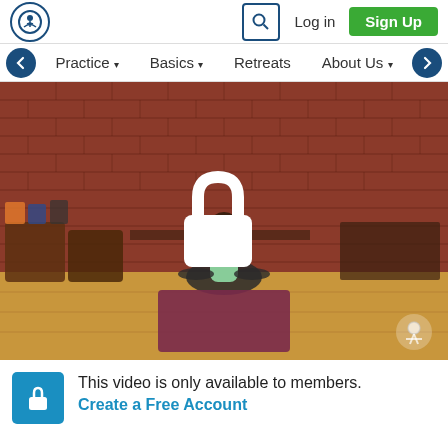Logo | Search | Log in | Sign Up
Practice ▾  Basics ▾  Retreats  About Us ▾
[Figure (screenshot): Yoga studio video thumbnail: woman in light green top sitting cross-legged on a purple/maroon mat on a wood floor, facing away from camera, in front of a red brick wall with wicker baskets and yoga mat rolls. A large white padlock icon overlays the center of the image. A small circular logo watermark appears in the bottom right corner.]
This video is only available to members.
Create a Free Account